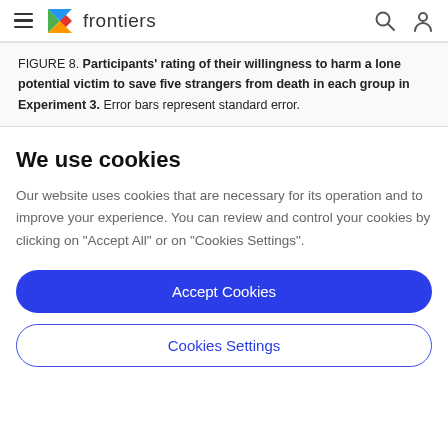frontiers
FIGURE 8. Participants' rating of their willingness to harm a lone potential victim to save five strangers from death in each group in Experiment 3. Error bars represent standard error.
We use cookies
Our website uses cookies that are necessary for its operation and to improve your experience. You can review and control your cookies by clicking on "Accept All" or on "Cookies Settings".
Accept Cookies
Cookies Settings